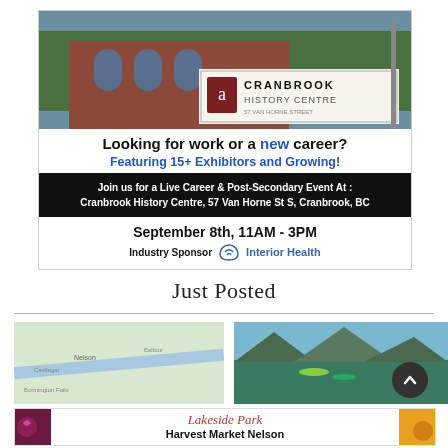[Figure (photo): Photo of Cranbrook History Centre building exterior with trees and sign]
Looking for work or a new career? Featuring 15+ Exhibitors and Growing!
Join us for a Live Career & Post-Secondary Event At: Cranbrook History Centre, 57 Van Horne St S, Cranbrook, BC
September 8th, 11AM - 3PM
Industry Sponsor  Interior Health
Just Posted
[Figure (map): Map showing Nelson area with river]
[Figure (photo): Photo of lake with kayaks and mountains]
[Figure (illustration): Lakeside Park Harvest Market Nelson advertisement banner]